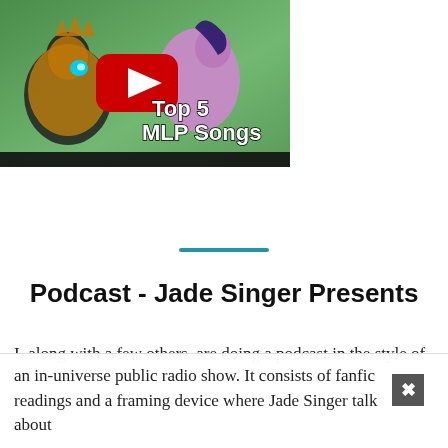[Figure (screenshot): YouTube video thumbnail for 'Top 5 MLP Songs' showing cartoon pony characters on a green background with a red YouTube play button and white text reading 'Top 5 MLP Songs']
Podcast - Jade Singer Presents
I, along with a few others, are doing a podcast in the style of an in-universe public radio show. It consists of fanfic readings and a framing device where Jade Singer talk about